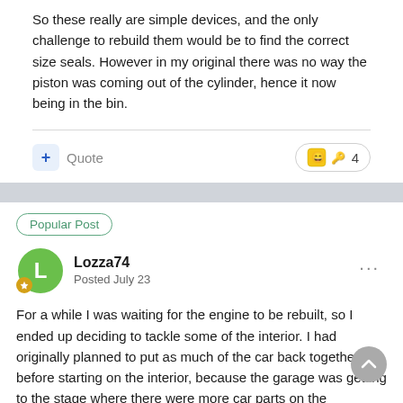So these really are simple devices, and the only challenge to rebuild them would be to find the correct size seals. However in my original there was no way the piston was coming out of the cylinder, hence it now being in the bin.
Popular Post
Lozza74
Posted July 23
For a while I was waiting for the engine to be rebuilt, so I ended up deciding to tackle some of the interior. I had originally planned to put as much of the car back together before starting on the interior, because the garage was getting to the stage where there were more car parts on the